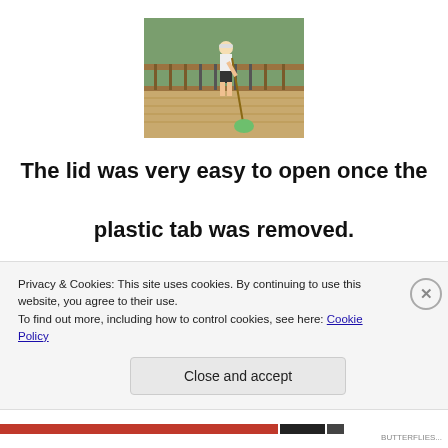[Figure (photo): Person mopping or cleaning a wooden deck outdoors with a mop and bucket]
The lid was very easy to open once the plastic tab was removed.
I thought I would need pliers which is why
Privacy & Cookies: This site uses cookies. By continuing to use this website, you agree to their use.
To find out more, including how to control cookies, see here: Cookie Policy
Close and accept